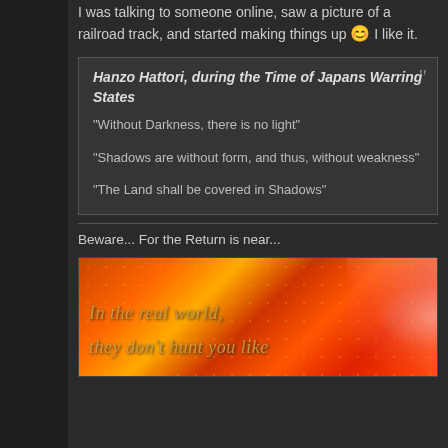I was talking to someone online, saw a picture of a railroad track, and started making things up 😊 I like it.
Hanzo Hattori, during the Time of Japans Warring States
"Without Darkness, there is no light"

"Shadows are without form, and thus, without weakness"

"The Land shall be covered in Shadows"
Beware... For the Return is near...
[Figure (illustration): A banner image with a fiery orange and red honeycomb/hexagonal background pattern, stylized italic text reading 'In the real world, they don't hunt you like' in golden/amber color, and an anime-style character on the right side with white/silver hair.]